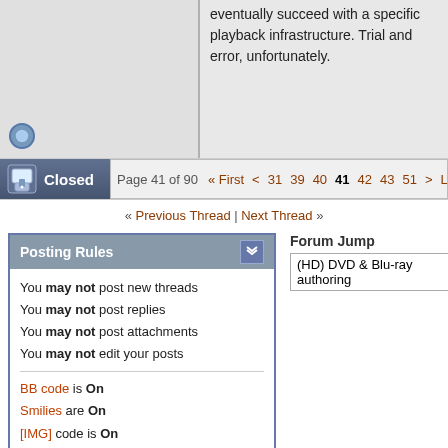eventually succeed with a specific playback infrastructure. Trial and error, unfortunately.
Closed | Page 41 of 90 « First < 31 39 40 41 42 43 51 > Last
« Previous Thread | Next Thread »
Posting Rules
You may not post new threads
You may not post replies
You may not post attachments
You may not edit your posts
BB code is On
Smilies are On
[IMG] code is On
HTML code is Off
Forum Rules
Forum Jump
(HD) DVD & Blu-ray authoring
All times are GMT +1. The time now is 11:29.
Doom9.org - Archive - Top
Powered by vBulletin® Version 3.8.11
Copyright ©2000 - 2022, vBulletin Solutions Inc.